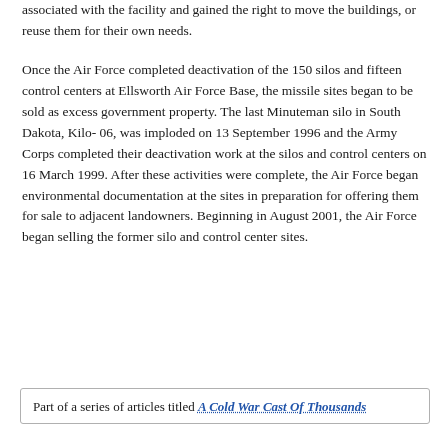associated with the facility and gained the right to move the buildings, or reuse them for their own needs.
Once the Air Force completed deactivation of the 150 silos and fifteen control centers at Ellsworth Air Force Base, the missile sites began to be sold as excess government property. The last Minuteman silo in South Dakota, Kilo- 06, was imploded on 13 September 1996 and the Army Corps completed their deactivation work at the silos and control centers on 16 March 1999. After these activities were complete, the Air Force began environmental documentation at the sites in preparation for offering them for sale to adjacent landowners. Beginning in August 2001, the Air Force began selling the former silo and control center sites.
Part of a series of articles titled A Cold War Cast Of Thousands